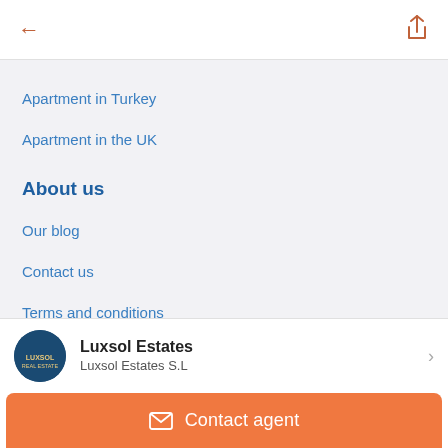Apartment in Turkey
Apartment in the UK
About us
Our blog
Contact us
Terms and conditions
Luxsol Estates
Luxsol Estates S.L
Contact agent